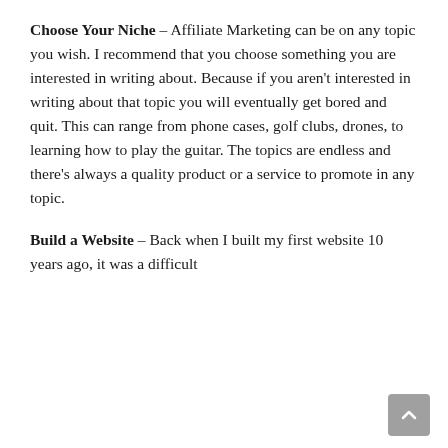Choose Your Niche – Affiliate Marketing can be on any topic you wish. I recommend that you choose something you are interested in writing about. Because if you aren't interested in writing about that topic you will eventually get bored and quit. This can range from phone cases, golf clubs, drones, to learning how to play the guitar. The topics are endless and there's always a quality product or a service to promote in any topic.
Build a Website – Back when I built my first website 10 years ago, it was a difficult